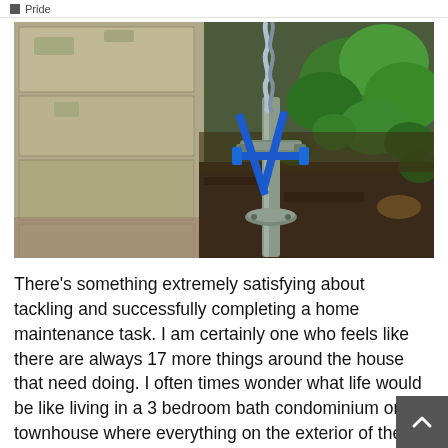Pride
[Figure (photo): Outdoor photo showing a metal water pipe fitting or valve with blue wrapping/straps, installed in soil next to a stone wall. Green plants visible in background.]
There’s something extremely satisfying about tackling and successfully completing a home maintenance task. I am certainly one who feels like there are always 17 more things around the house that need doing. I often times wonder what life would be like living in a 3 bedroom bath condominium or townhouse where everything on the exterior of the building is taken care of. There…